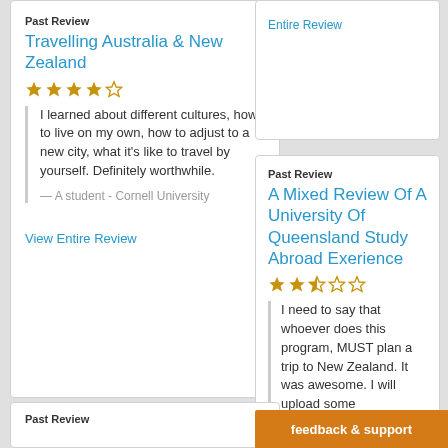Past Review
Travelling Australia & New Zealand
[Figure (other): 4 out of 5 stars rating]
I learned about different cultures, how to live on my own, how to adjust to a new city, what it's like to travel by yourself. Definitely worthwhile.
— A student - Cornell University
View Entire Review
Entire Review
Past Review
A Mixed Review Of A University Of Queensland Study Abroad Exerience
[Figure (other): 2.5 out of 5 stars rating]
I need to say that whoever does this program, MUST plan a trip to New Zealand. It was awesome. I will upload some
Past Review
feedback & support